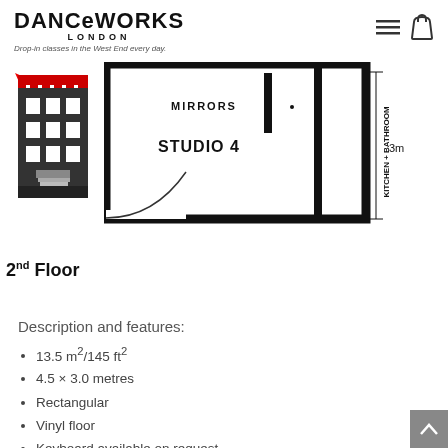DANCeWORKS LONDON — Drop-in classes in the West End every day.
[Figure (engineering-diagram): Floor plan of 2nd Floor showing Studio 4 with Mirrors, Kitchen + Bathroom, and a 3m dimension marker. A building elevation/section image on the left shows the building facade.]
2nd Floor
Description and features:
13.5 m²/145 ft²
4.5 × 3.0 metres
Rectangular
Vinyl floor
Keyboard available on request
Portable Stereo
4 person capacity for dance
For one-to-one lessons